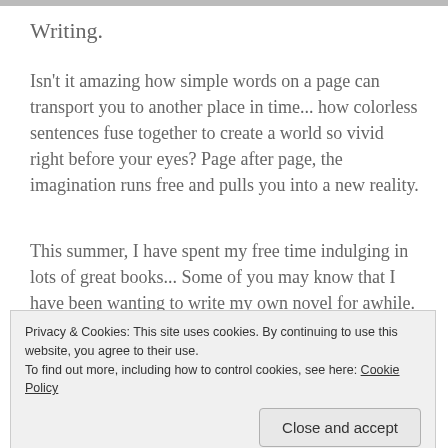[Figure (photo): Partial image strip at the top of the page, cropped/cut off]
Writing.
Isn't it amazing how simple words on a page can transport you to another place in time... how colorless sentences fuse together to create a world so vivid right before your eyes? Page after page, the imagination runs free and pulls you into a new reality.
This summer, I have spent my free time indulging in lots of great books... Some of you may know that I have been wanting to write my own novel for awhile. I had an idea
Privacy & Cookies: This site uses cookies. By continuing to use this website, you agree to their use.
To find out more, including how to control cookies, see here: Cookie Policy
Close and accept
as I could in a small journal. Ideas continued to flow ever